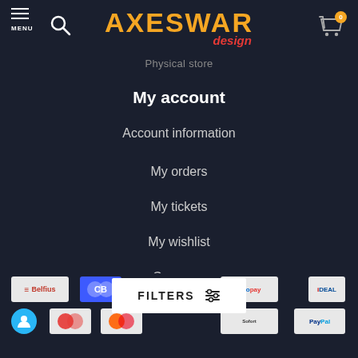AXESWAR design — MENU, search, cart with 0 items
Physical store
My account
Account information
My orders
My tickets
My wishlist
Compare
All products
[Figure (screenshot): Payment logos row: Belfius, Crelan/CB, giropay, iDEAL, and bottom row icons]
FILTERS